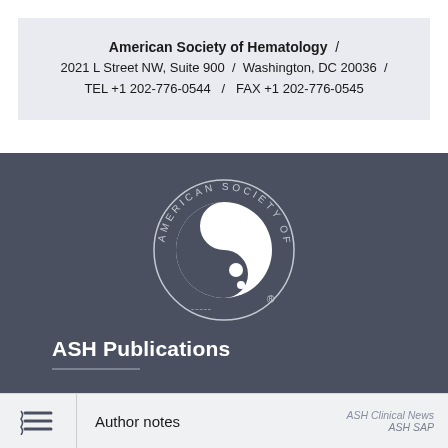American Society of Hematology  /  2021 L Street NW, Suite 900  /  Washington, DC 20036  /  TEL +1 202-776-0544  /  FAX +1 202-776-0545
[Figure (logo): American Society of Hematology circular logo with white yin-yang style blood cell design on dark background, encircled by text 'AMERICAN SOCIETY OF HEMATOLOGY' with registered trademark symbol]
ASH Publications
Author notes
Blood  ASH Clinical News  Blood Advances  ASH SAP